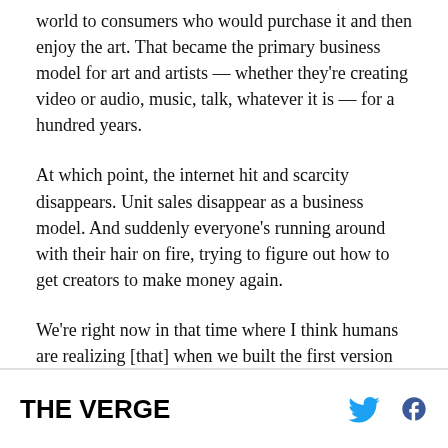world to consumers who would purchase it and then enjoy the art. That became the primary business model for art and artists — whether they're creating video or audio, music, talk, whatever it is — for a hundred years.
At which point, the internet hit and scarcity disappears. Unit sales disappear as a business model. And suddenly everyone's running around with their hair on fire, trying to figure out how to get creators to make money again.
We're right now in that time where I think humans are realizing [that] when we built the first version of
THE VERGE